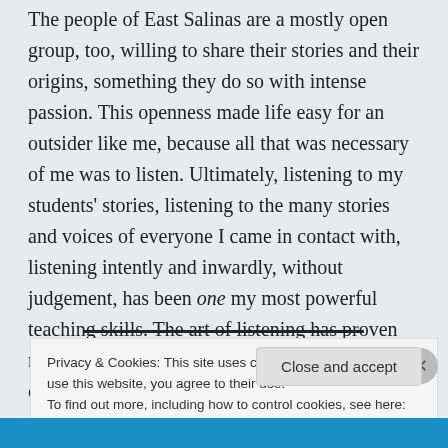The people of East Salinas are a mostly open group, too, willing to share their stories and their origins, something they do so with intense passion. This openness made life easy for an outsider like me, because all that was necessary of me was to listen. Ultimately, listening to my students' stories, listening to the many stories and voices of everyone I came in contact with, listening intently and inwardly, without judgement, has been one my most powerful teaching skills. The art of listening has proven more valuable to me than any teacher's manual or college course could ever be.
Privacy & Cookies: This site uses cookies. By continuing to use this website, you agree to their use. To find out more, including how to control cookies, see here: Cookie Policy
Close and accept